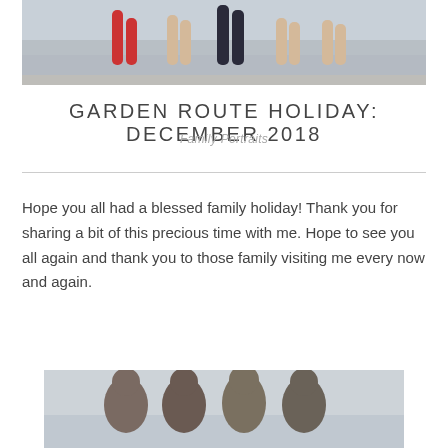[Figure (photo): Beach photo showing legs of family members standing on wet sand with ocean in background, cropped to show lower bodies only]
GARDEN ROUTE HOLIDAY: DECEMBER 2018
Family Portraits
Hope you all had a blessed family holiday!  Thank you for sharing a bit of this precious time with me. Hope to see you all again and thank you to those family visiting me every now and again.
[Figure (photo): Group photo of four women standing together on a beach with overcast sky background, cropped to show upper bodies and heads]